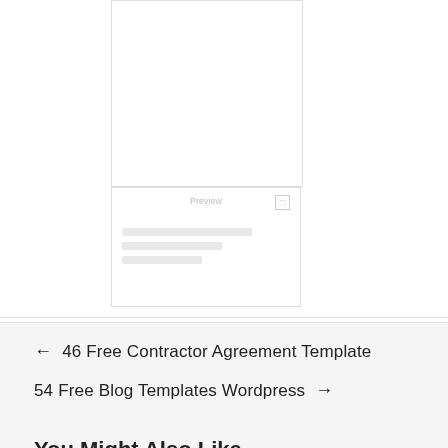[Figure (screenshot): Two UI card mockups stacked vertically. The top card is a blank white rectangle with a thin border. The bottom card has a 'Preview' label, a small icon in the top right corner, and three horizontal grey lines representing content lines.]
← 46 Free Contractor Agreement Template
54 Free Blog Templates Wordpress →
You Might Also Like